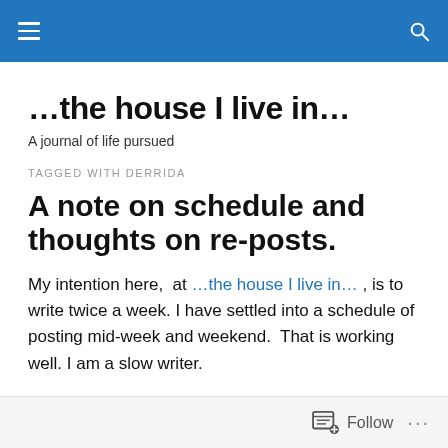...the house I live in... [navigation header with hamburger menu and search icon]
…the house I live in…
A journal of life pursued
TAGGED WITH DERRIDA
A note on schedule and thoughts on re-posts.
My intention here,  at …the house I live in… , is to write twice a week. I have settled into a schedule of posting mid-week and weekend.  That is working well. I am a slow writer.
Follow ...